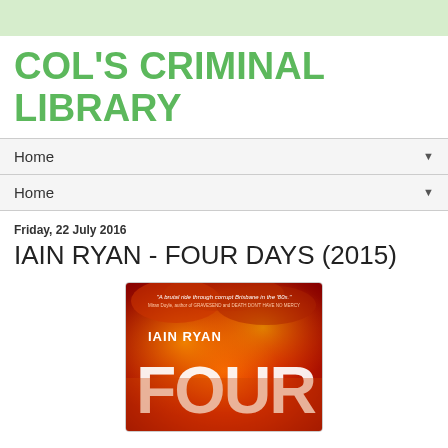COL'S CRIMINAL LIBRARY
Home
Home
Friday, 22 July 2016
IAIN RYAN - FOUR DAYS (2015)
[Figure (photo): Book cover of 'Four Days' by Iain Ryan, showing a fiery red and orange background with the author name 'IAIN RYAN' in white text and the large title word 'FOUR' visible. A quote reads: 'A brutal ride through corrupt Brisbane in the '80s.' - Miran Doyle, author of GRAVESEND and DEATH DON'T HAVE NO MERCY]